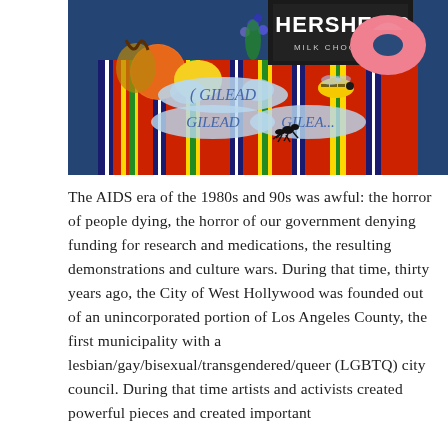[Figure (photo): A colorful collage-style painting featuring a striped Mexican blanket/serape table, fruits (orange, lemon), an ice cream sundae, flowers, a Hershey's Milk Chocolate bar, a pink donut, a bee/wasp, and multiple cloud-shaped speech bubbles with the word 'GILEAD' written on them.]
The AIDS era of the 1980s and 90s was awful: the horror of people dying, the horror of our government denying funding for research and medications, the resulting demonstrations and culture wars. During that time, thirty years ago, the City of West Hollywood was founded out of an unincorporated portion of Los Angeles County, the first municipality with a lesbian/gay/bisexual/transgendered/queer (LGBTQ) city council. During that time artists and activists created powerful pieces and created important